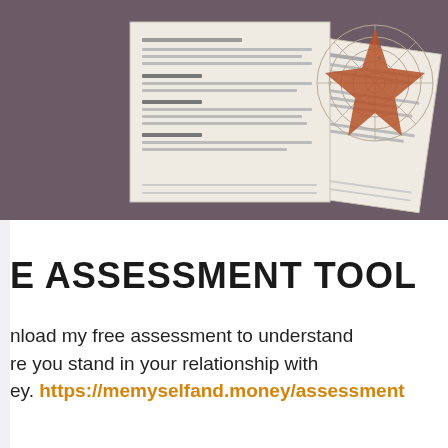[Figure (illustration): Two overlapping document pages with text lines visible, placed against a dark mauve/purple background. The front document has a radar/target chart diagram with a rust-colored arrow or shape pointing outward.]
E ASSESSMENT TOOL
nload my free assessment to understand re you stand in your relationship with ey. https://memyselfand.money/assessment